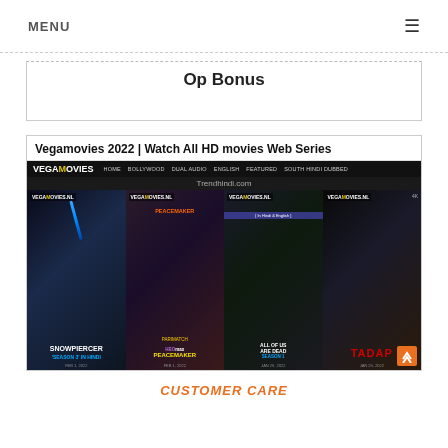MENU ≡
Op Bonus
[Figure (screenshot): Screenshot of Vegamovies 2022 website showing Vegamovies logo/navbar with HOME, BOLLYWOOD, DUAL AUDIO, ENGLISH, FEATURED, SOUTH HINDI DUBBED links, Trendhindi.com watermark, and four movie thumbnails: Snowpiercer Season 3 in Hindi, Peacemaker, All of Us Are Dead Season 1 (In Hindi & English), and Tadap, each showing VEGAMOVIES.NL watermark.]
CUSTOMER CARE